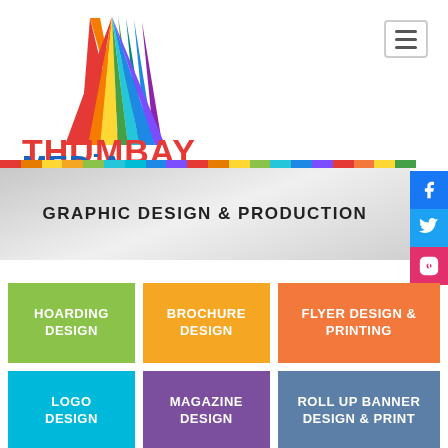[Figure (logo): Thumbay Media logo with colorful triangle and text THUMBAY MEDIA, tagline INNOVATION + IDEAS + COMMUNICATION]
[Figure (screenshot): Hamburger menu icon in top right corner]
[Figure (infographic): Grey banner with text GRAPHIC DESIGN & PRODUCTION and colorful stripe at top; social media icons (Facebook, Twitter, Instagram) on right side]
GRAPHIC DESIGN & PRODUCTION
HOARDING DESIGN
BROCHURE DESIGN
FLYER DESIGN & PRINTING
LOGO DESIGN
MAGAZINE DESIGN
ROLL UP BANNER DESIGN & PRINT